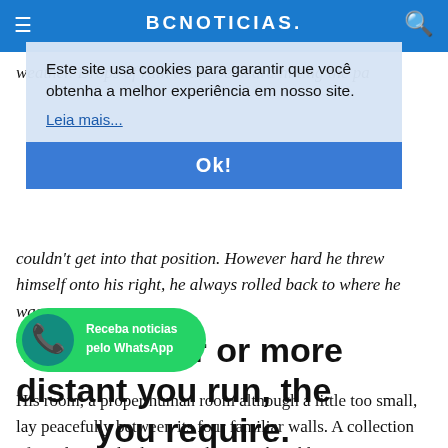BCNOTICIAS
[Figure (screenshot): Cookie consent banner overlay with text 'Este site usa cookies para garantir que você obtenha a melhor experiência em nosso site.' with 'Leia mais...' link and 'Ok!' button]
weather. Drops of rain could be heard hitting the pane, which made him feel quite sad. "How about if I sleep a little bit longer and forget all this nonsense", he thought, but that was something he was unable to do because he was used to sleeping on his right, and in his present state couldn't get into that position. However hard he threw himself onto his right, he always rolled back to where he was.
The quicker or more distant you run, the more help you require.
His room, a proper human room although a little too small, lay peacefully between its four familiar walls. A collection of textile samples lay spread out on the table – Samsa was a travelling salesman – and above it there hung a picture
[Figure (logo): WhatsApp badge with green background, phone icon, and text 'Receba noticias pelo WhatsApp']